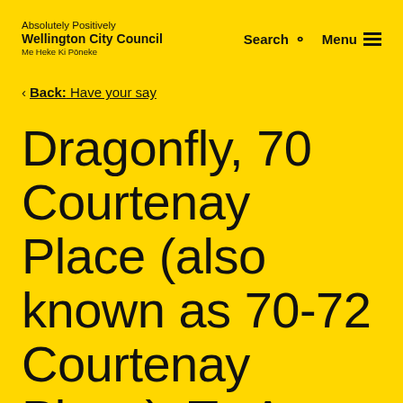Absolutely Positively Wellington City Council Me Heke Ki Pōneke | Search | Menu
< Back: Have your say
Dragonfly, 70 Courtenay Place (also known as 70-72 Courtenay Place), Te Aro